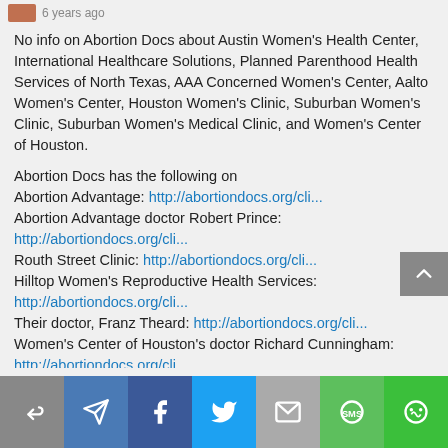6 years ago
No info on Abortion Docs about Austin Women's Health Center, International Healthcare Solutions, Planned Parenthood Health Services of North Texas, AAA Concerned Women's Center, Aalto Women's Center, Houston Women's Clinic, Suburban Women's Clinic, Suburban Women's Medical Clinic, and Women's Center of Houston.
Abortion Docs has the following on
Abortion Advantage: http://abortiondocs.org/cli...
Abortion Advantage doctor Robert Prince:
http://abortiondocs.org/cli...
Routh Street Clinic: http://abortiondocs.org/cli...
Hilltop Women's Reproductive Health Services:
http://abortiondocs.org/cli...
Their doctor, Franz Theard: http://abortiondocs.org/cli...
Women's Center of Houston's doctor Richard Cunningham:
http://abortiondocs.org/cli...
Their doctor Shah Siddiqi: http://abortiondocs.org/cli...
Whole Women's Health of McAllen: